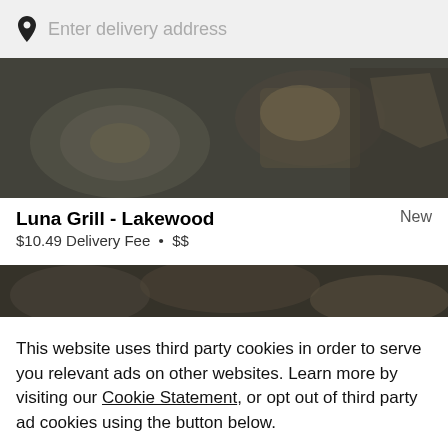Enter delivery address
[Figure (photo): Restaurant food photo showing plates with food items, dark overlay]
Luna Grill - Lakewood
New
$10.49 Delivery Fee • $$
[Figure (photo): Partial restaurant food photo, dark]
This website uses third party cookies in order to serve you relevant ads on other websites. Learn more by visiting our Cookie Statement, or opt out of third party ad cookies using the button below.
Opt out
Got it